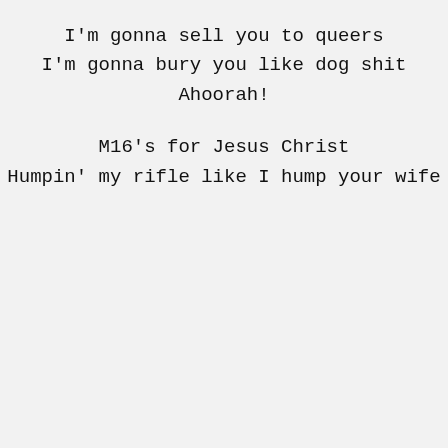I'm gonna sell you to queers
I'm gonna bury you like dog shit
Ahoorah!

M16's for Jesus Christ
Humpin' my rifle like I hump your wife